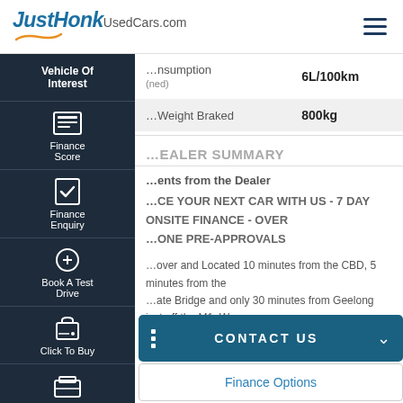JustHonkUsedCars.com
Vehicle Of Interest
Finance Score
Finance Enquiry
Book A Test Drive
Click To Buy
Instant Offer
| Specification | Value |
| --- | --- |
| Fuel Consumption (combined) | 6L/100km |
| Towing Weight Braked | 800kg |
DEALER SUMMARY
Comments from the Dealer
FINANCE YOUR NEXT CAR WITH US - 7 DAY ONSITE FINANCE - OVER PHONE PRE-APPROVALS
Westover and Located 10 minutes from the CBD, 5 minutes from the Westgate Bridge and only 30 minutes from Geelong just off the M1. We cater for your car needs, whether you are looking for an Auto
CONTACT US
Finance Options